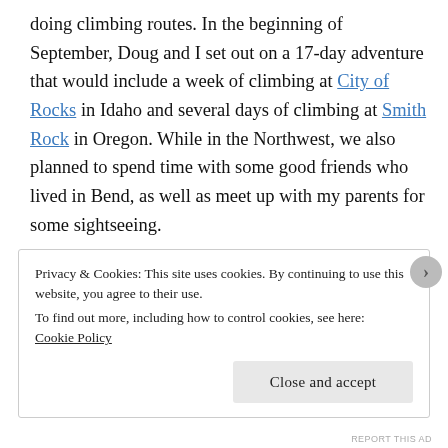doing climbing routes. In the beginning of September, Doug and I set out on a 17-day adventure that would include a week of climbing at City of Rocks in Idaho and several days of climbing at Smith Rock in Oregon. While in the Northwest, we also planned to spend time with some good friends who lived in Bend, as well as meet up with my parents for some sightseeing.
As we were traveling and climbing, I noticed that quite a few things had changed since our road trip days long ago:
Privacy & Cookies: This site uses cookies. By continuing to use this website, you agree to their use.
To find out more, including how to control cookies, see here:
Cookie Policy
Close and accept